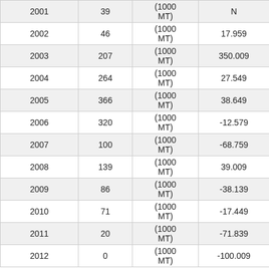| Year | Count | Unit | Value |
| --- | --- | --- | --- |
| 2001 | 39 | (1000 MT) | N... |
| 2002 | 46 | (1000 MT) | 17.959... |
| 2003 | 207 | (1000 MT) | 350.009... |
| 2004 | 264 | (1000 MT) | 27.549... |
| 2005 | 366 | (1000 MT) | 38.649... |
| 2006 | 320 | (1000 MT) | -12.579... |
| 2007 | 100 | (1000 MT) | -68.759... |
| 2008 | 139 | (1000 MT) | 39.009... |
| 2009 | 86 | (1000 MT) | -38.139... |
| 2010 | 71 | (1000 MT) | -17.449... |
| 2011 | 20 | (1000 MT) | -71.839... |
| 2012 | 0 | (1000 MT) | -100.009... |